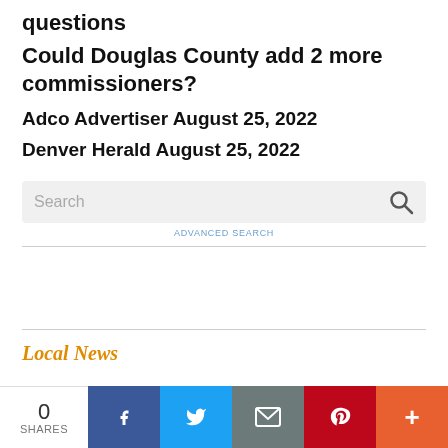questions
Could Douglas County add 2 more commissioners?
Adco Advertiser August 25, 2022
Denver Herald August 25, 2022
[Figure (screenshot): Search box with placeholder text 'Search' and a magnifying glass icon on the right, followed by 'ADVANCED SEARCH' link below]
Local News
0 SHARES — social share bar with Facebook, Twitter, Email, Pinterest, and More buttons